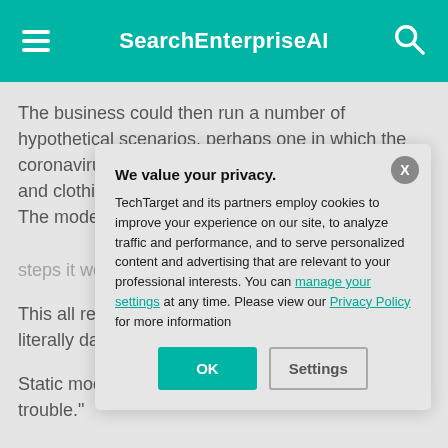SearchEnterpriseAI
The business could then run a number of hypothetical scenarios, perhaps one in which the coronavirus pandemic subsides in three months and clothing goes back to regular demand levels. The model could, at the least, give the company an idea of the steps it would need to take if th
This all requires human intuition, predict the unpre literally daily to d
Static models tha predict the future using one of the trouble."
We value your privacy.
TechTarget and its partners employ cookies to improve your experience on our site, to analyze traffic and performance, and to serve personalized content and advertising that are relevant to your professional interests. You can manage your settings at any time. Please view our Privacy Policy for more information